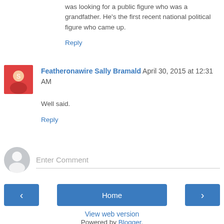was looking for a public figure who was a grandfather. He's the first recent national political figure who came up.
Reply
Featheronawire Sally Bramald  April 30, 2015 at 12:31 AM
Well said.
Reply
Enter Comment
Home
View web version
Powered by Blogger.